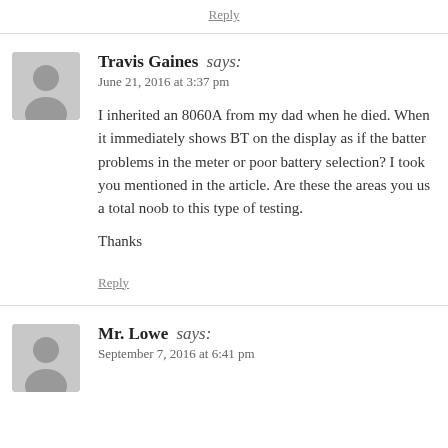Reply
Travis Gaines says:
June 21, 2016 at 3:37 pm
I inherited an 8060A from my dad when he died. When it immediately shows BT on the display as if the battery problems in the meter or poor battery selection? I took you mentioned in the article. Are these the areas you us a total noob to this type of testing.

Thanks
Reply
Mr. Lowe says:
September 7, 2016 at 6:41 pm